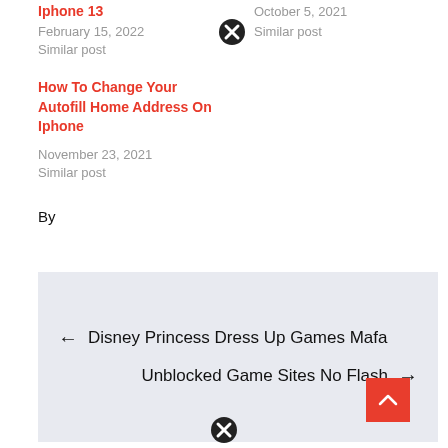Iphone 13
February 15, 2022
Similar post
[Figure (other): Close/X icon circle button top right area]
October 5, 2021
Similar post
How To Change Your Autofill Home Address On Iphone
November 23, 2021
Similar post
By
← Disney Princess Dress Up Games Mafa
Unblocked Game Sites No Flash →
[Figure (other): Close/X icon circle button bottom center]